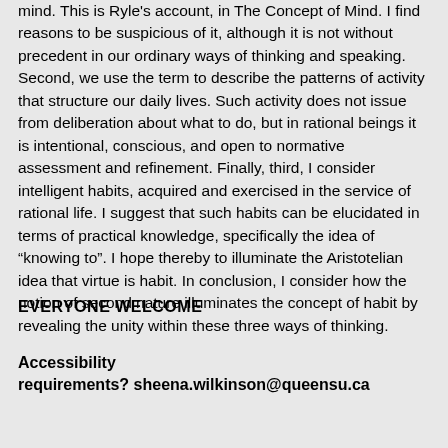mind.  This is Ryle's account, in The Concept of Mind.  I find reasons to be suspicious of it, although it is not without precedent in our ordinary ways of thinking and speaking.  Second, we use the term to describe the patterns of activity that structure our daily lives.  Such activity does not issue from deliberation about what to do, but in rational beings it is intentional, conscious, and open to normative assessment and refinement.  Finally, third, I consider intelligent habits, acquired and exercised in the service of rational life. I suggest that such habits can be elucidated in terms of practical knowledge, specifically the idea of “knowing to”.  I hope thereby to illuminate the Aristotelian idea that virtue is habit.  In conclusion, I consider how the notion of second nature illuminates the concept of habit by revealing the unity within these three ways of thinking.
EVERYONE WELCOME
Accessibility requirements? sheena.wilkinson@queensu.ca